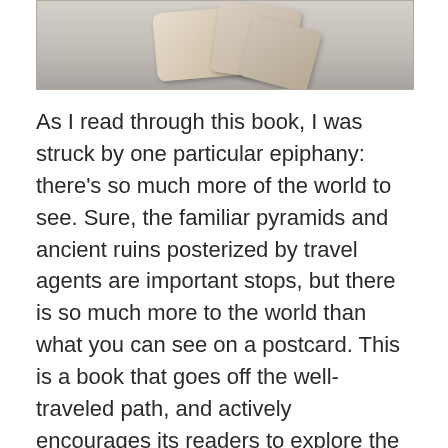[Figure (photo): Photo of stacked folding/tablet devices in gold/beige color at the top of the page]
As I read through this book, I was struck by one particular epiphany: there's so much more of the world to see. Sure, the familiar pyramids and ancient ruins posterized by travel agents are important stops, but there is so much more to the world than what you can see on a postcard. This is a book that goes off the well-traveled path, and actively encourages its readers to explore the world, rather than travel it.
There are two drawbacks here: because of its large size, this is probably not a great thing to pack up in your luggage (unless you get the eBook version). Second, any type of book that's written from a huge